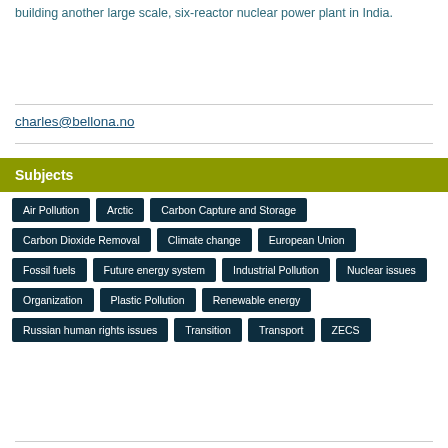building another large scale, six-reactor nuclear power plant in India.
charles@bellona.no
Subjects
Air Pollution
Arctic
Carbon Capture and Storage
Carbon Dioxide Removal
Climate change
European Union
Fossil fuels
Future energy system
Industrial Pollution
Nuclear issues
Organization
Plastic Pollution
Renewable energy
Russian human rights issues
Transition
Transport
ZECS